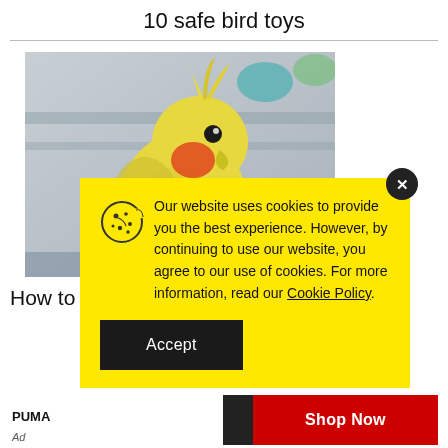10 safe bird toys
[Figure (photo): Close-up photo of a yellow and orange-cheeked parakeet or cockatiel against a blurred grey background]
Our website uses cookies to provide you the best experience. However, by continuing to use our website, you agree to our use of cookies. For more information, read our Cookie Policy.
Accept
How to tell if ...                                            nd
PUMA
Shop Now
Ad